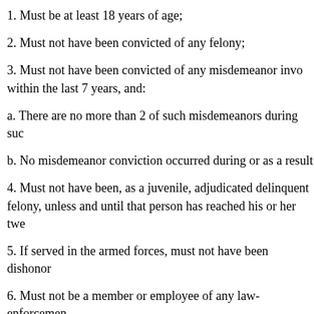1. Must be at least 18 years of age;
2. Must not have been convicted of any felony;
3. Must not have been convicted of any misdemeanor invo... within the last 7 years, and:
a. There are no more than 2 of such misdemeanors during suc...
b. No misdemeanor conviction occurred during or as a result...
4. Must not have been, as a juvenile, adjudicated delinquent... felony, unless and until that person has reached his or her twe...
5. If served in the armed forces, must not have been dishonor...
6. Must not be a member or employee of any law-enforcemen...
7. Must meet and maintain the qualifications set and approve...